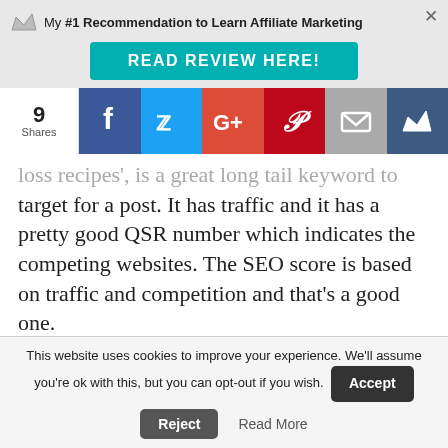My #1 Recommendation to Learn Affiliate Marketing
READ REVIEW HERE!
[Figure (infographic): Social share bar with 9 shares count and buttons for Facebook, Twitter, Google+, Pinterest, Email, and Crown/bookmark]
loss recipes', is a great long tail keyword to target for a post. It has traffic and it has a pretty good QSR number which indicates the competing websites. The SEO score is based on traffic and competition and that's a good one.
Long Tail Keyword Definition – a long tail
This website uses cookies to improve your experience. We'll assume you're ok with this, but you can opt-out if you wish. Accept Reject Read More